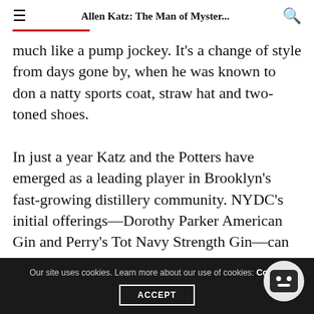Allen Katz: The Man of Myster...
much like a pump jockey. It's a change of style from days gone by, when he was known to don a natty sports coat, straw hat and two-toned shoes.
In just a year Katz and the Potters have emerged as a leading player in Brooklyn's fast-growing distillery community. NYDC's initial offerings—Dorothy Parker American Gin and Perry's Tot Navy Strength Gin—can be found in the city's best liquor stores, and in cocktails
Our site uses cookies. Learn more about our use of cookies: Cookie ACCEPT